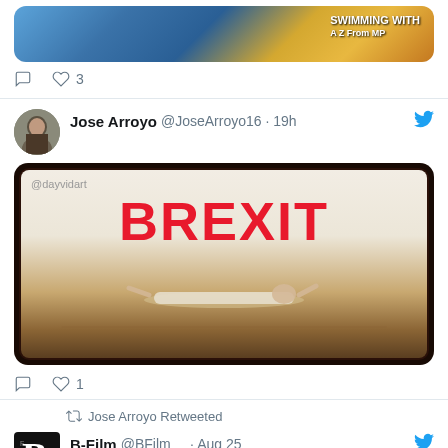[Figure (screenshot): Top portion of a tweet showing a partial image (colorful underwater/beach scene) with comment and like icons, 3 likes shown]
♡ 3
[Figure (screenshot): Tweet by Jose Arroyo @JoseArroyo16 · 19h showing a BREXIT image with text '@dayvidart BREXIT' and a person lying in a field, styled like a movie poster on a phone/tablet frame]
Jose Arroyo @JoseArroyo16 · 19h
♡ 1
Jose Arroyo Retweeted
B-Film @BFilm__ · Aug 25
👁🔬 Now online: Issue 1 of BUÑUELIANA: REVISTA DE CINE, ARTE Y VANGUARDIA